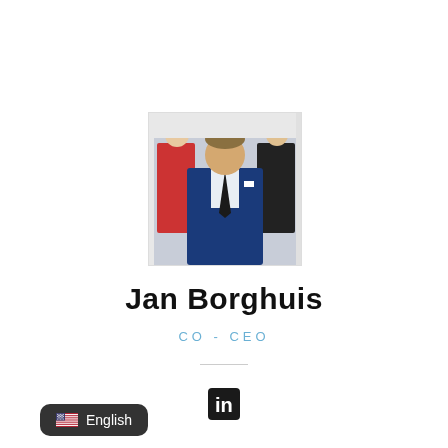[Figure (photo): Headshot photo of Jan Borghuis, a man in a blue suit with a dark tie, standing outdoors with people in the background.]
Jan Borghuis
CO-CEO
[Figure (logo): LinkedIn icon (white 'in' on dark background square)]
English